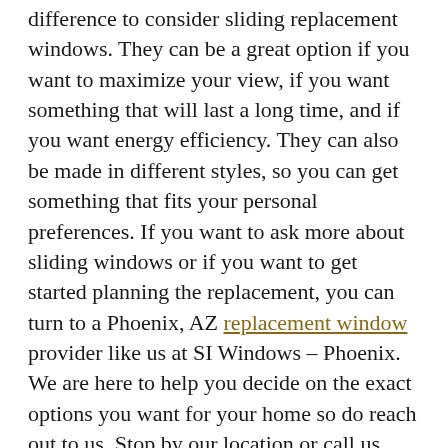difference to consider sliding replacement windows. They can be a great option if you want to maximize your view, if you want something that will last a long time, and if you want energy efficiency. They can also be made in different styles, so you can get something that fits your personal preferences. If you want to ask more about sliding windows or if you want to get started planning the replacement, you can turn to a Phoenix, AZ replacement window provider like us at SI Windows – Phoenix. We are here to help you decide on the exact options you want for your home so do reach out to us. Stop by our location or call us today to learn more about the options we offer.
admin  May 17, 2021  replacement windows